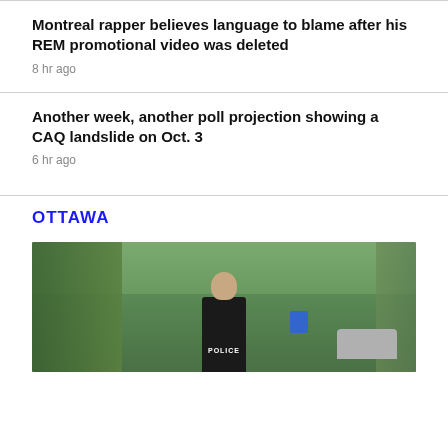Montreal rapper believes language to blame after his REM promotional video was deleted
8 hr ago
Another week, another poll projection showing a CAQ landslide on Oct. 3
6 hr ago
OTTAWA
[Figure (photo): A police officer seen from behind wearing a black uniform with POLICE written on the back, standing outdoors near trees and a car.]